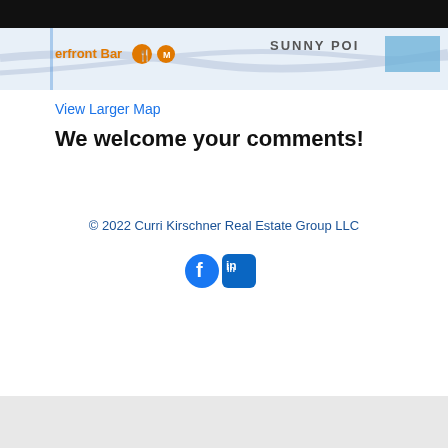[Figure (screenshot): Partial Google Maps screenshot showing 'erfront Bar' label in orange with a restaurant icon, and 'SUNNY POI' text label on blue area at top right]
View Larger Map
We welcome your comments!
© 2022 Curri Kirschner Real Estate Group LLC
[Figure (logo): Facebook and LinkedIn social media icons]